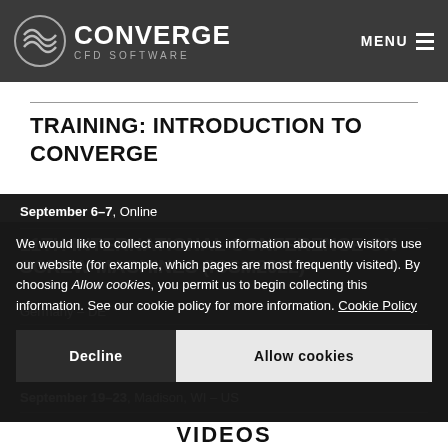CONVERGE CFD SOFTWARE — MENU
TRAINING: INTRODUCTION TO CONVERGE
September 6–7, Online
11TH INTERNATIONAL CONFERENCE ON SCREW MACHINES (ICSM2022)
2022 CONVERGE USER CONFERENCE
September 19–23, Madison, WI – US
We would like to collect anonymous information about how visitors use our website (for example, which pages are most frequently visited). By choosing Allow cookies, you permit us to begin collecting this information. See our cookie policy for more information. Cookie Policy
Decline   Allow cookies
VIDEOS